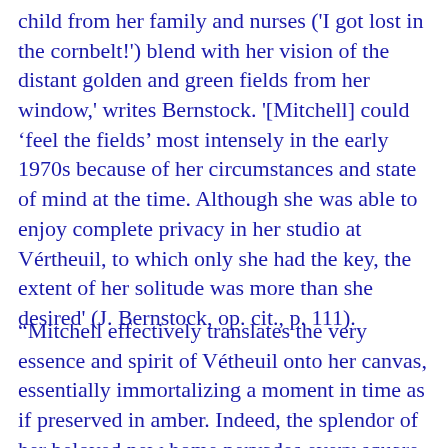child from her family and nurses ('I got lost in the cornbelt!') blend with her vision of the distant golden and green fields from her window,' writes Bernstock. '[Mitchell] could ‘feel the fields’ most intensely in the early 1970s because of her circumstances and state of mind at the time. Although she was able to enjoy complete privacy in her studio at Vértheuil, to which only she had the key, the extent of her solitude was more than she desired' (J. Bernstock, op. cit., p. 111).
"Mitchell effectively translates the very essence and spirit of Vétheuil onto her canvas, essentially immortalizing a moment in time as if preserved in amber. Indeed, the splendor of her beloved new home pervades every square